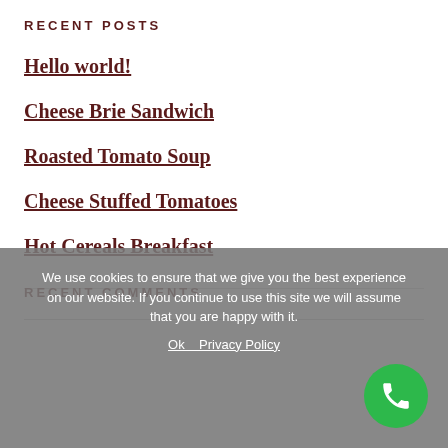RECENT POSTS
Hello world!
Cheese Brie Sandwich
Roasted Tomato Soup
Cheese Stuffed Tomatoes
Hot Cereals Breakfast
RECENT COMMENTS
We use cookies to ensure that we give you the best experience on our website. If you continue to use this site we will assume that you are happy with it.
Ok   Privacy Policy